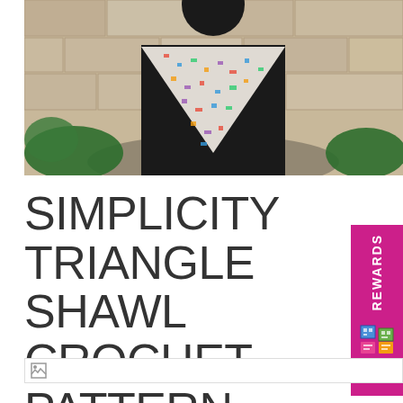[Figure (photo): Person wearing a multicolored crocheted triangle shawl over a black outfit, standing in front of a stone wall with greenery.]
SIMPLICITY TRIANGLE SHAWL CROCHET PATTERN
May 17, 2019
[Figure (photo): Broken image placeholder at bottom of page.]